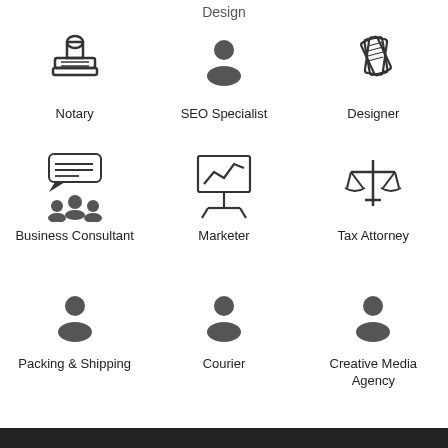Design
[Figure (illustration): Notary stamp icon]
Notary
[Figure (illustration): Person/user icon for SEO Specialist]
SEO Specialist
[Figure (illustration): Design/color swatch fan icon]
Designer
[Figure (illustration): Business consultant group with speech bubble icon]
Business Consultant
[Figure (illustration): Marketer with presentation board icon]
Marketer
[Figure (illustration): Tax attorney scales of justice icon]
Tax Attorney
[Figure (illustration): Person/user icon for Packing & Shipping]
Packing & Shipping
[Figure (illustration): Person/user icon for Courier]
Courier
[Figure (illustration): Person/user icon for Creative Media Agency]
Creative Media Agency